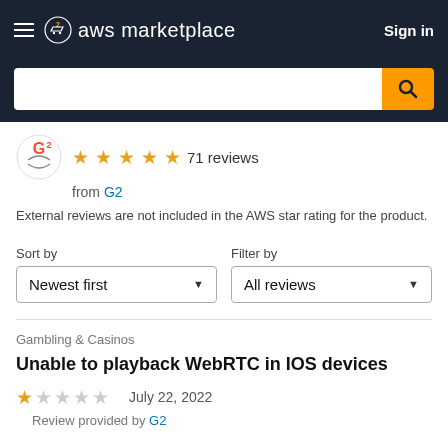aws marketplace  Sign in
[Figure (screenshot): AWS Marketplace search bar with orange search button]
71 reviews from G2
External reviews are not included in the AWS star rating for the product.
Sort by: Newest first   Filter by: All reviews
Gambling & Casinos
Unable to playback WebRTC in IOS devices
July 22, 2022
Review provided by G2